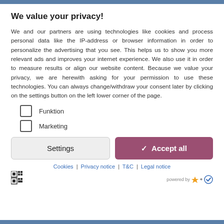We value your privacy!
We and our partners are using technologies like cookies and process personal data like the IP-address or browser information in order to personalize the advertising that you see. This helps us to show you more relevant ads and improves your internet experience. We also use it in order to measure results or align our website content. Because we value your privacy, we are herewith asking for your permission to use these technologies. You can always change/withdraw your consent later by clicking on the settings button on the left lower corner of the page.
Funktion
Marketing
Settings | Accept all
Cookies | Privacy notice | T&C | Legal notice